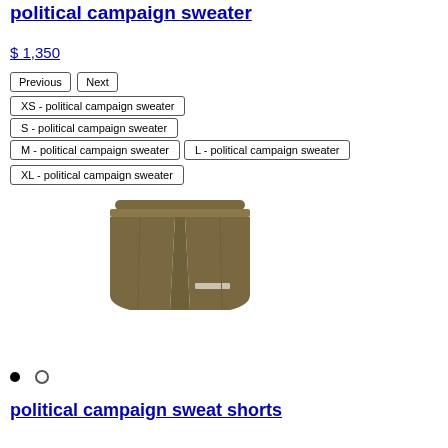political campaign sweater
$ 1,350
Previous
Next
XS - political campaign sweater
S - political campaign sweater
M - political campaign sweater
L - political campaign sweater
XL - political campaign sweater
[Figure (photo): Brown/olive colored sweat shorts on white background]
political campaign sweat shorts